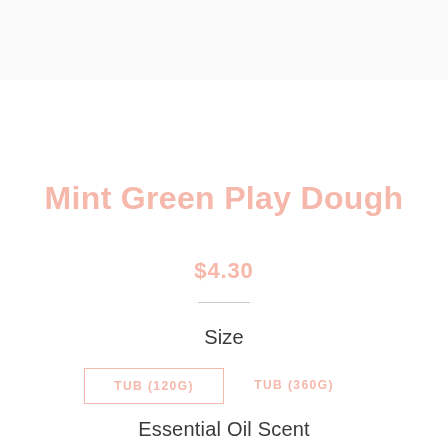Mint Green Play Dough
$4.30
Size
TUB (120G)
TUB (360G)
Essential Oil Scent